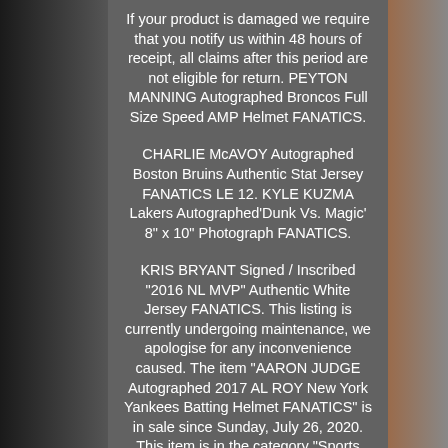If your product is damaged we require that you notify us within 48 hours of receipt, all claims after this period are not eligible for return. PEYTON MANNING Autographed Broncos Full Size Speed AMP Helmet FANATICS.
CHARLIE McAVOY Autographed Boston Bruins Authentic Stat Jersey FANATICS LE 12. KYLE KUZMA Lakers Autographed'Dunk Vs. Magic' 8" x 10" Photograph FANATICS.
KRIS BRYANT Signed / Inscribed "2016 NL MVP" Authentic White Jersey FANATICS. This listing is currently undergoing maintenance, we apologise for any inconvenience caused. The item "AARON JUDGE Autographed 2017 AL ROY New York Yankees Batting Helmet FANATICS" is in sale since Sunday, July 26, 2020. This item is in the category "Sports Mem, Cards & Fan Shop\Autographs-Original\Baseballs".